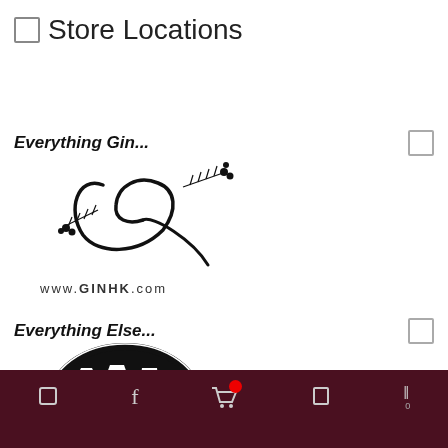☰ Store Locations
Everything Gin...
[Figure (logo): Everything Gin logo: cursive G with botanical/juniper berry illustration and www.GINHK.com text below]
Everything Else...
[Figure (logo): Everything Else logo: black oval with three wine/champagne glasses silhouetted in white]
Navigation bar with home, search, cart (with red badge), bookmark, and menu icons